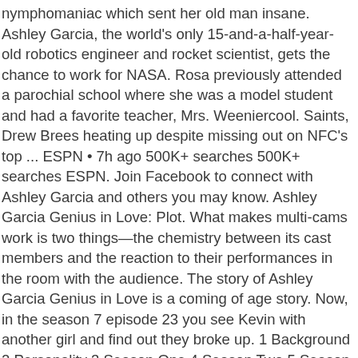nymphomaniac which sent her old man insane. Ashley Garcia, the world's only 15-and-a-half-year-old robotics engineer and rocket scientist, gets the chance to work for NASA. Rosa previously attended a parochial school where she was a model student and had a favorite teacher, Mrs. Weeniercool. Saints, Drew Brees heating up despite missing out on NFC's top ... ESPN • 7h ago 500K+ searches 500K+ searches ESPN. Join Facebook to connect with Ashley Garcia and others you may know. Ashley Garcia Genius in Love: Plot. What makes multi-cams work is two things—the chemistry between its cast members and the reaction to their performances in the room with the audience. The story of Ashley Garcia Genius in Love is a coming of age story. Now, in the season 7 episode 23 you see Kevin with another girl and find out they broke up. 1 Background 2 Personality 3 Season One 4 Season Two 5 Season Three 6 Season Four 7 Season Five 8 Season Six 9 Season Seven 10 Season Eight 11 Season Nine 12 Season